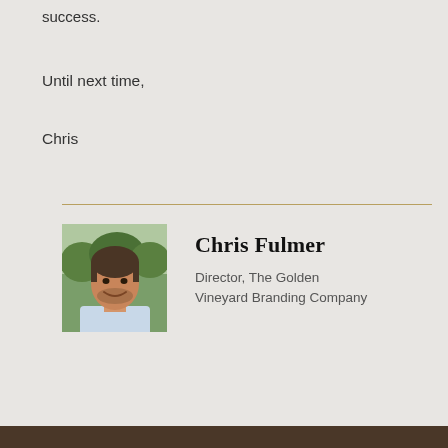success.
Until next time,
Chris
Chris Fulmer
Director, The Golden Vineyard Branding Company